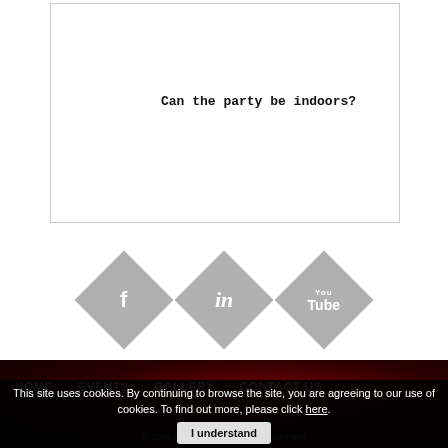Can the party be indoors?
[Figure (illustration): Three diamond/rhombus shaped social media icons in grey: Facebook (f), LinkedIn (in), YouTube (You Tube)]
HOME  EVENTS  GALLERY  CONTACT US
© 2009-2021 Nellor House Entertainment
This site uses cookies. By continuing to browse the site, you are agreeing to our use of cookies. To find out more, please click here.